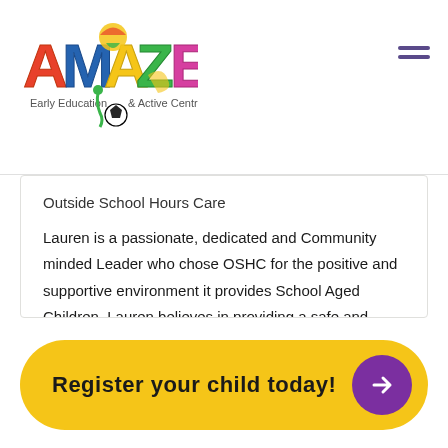[Figure (logo): AMAZE Early Education & Active Centres logo with colorful letters and soccer ball graphic]
Outside School Hours Care
Lauren is a passionate, dedicated and Community minded Leader who chose OSHC for the positive and supportive environment it provides School Aged Children. Lauren believes in providing a safe and inclusive environment where all children are given the opportunity to participate in social, emotional and educational programs that promotes learning and play together.
Register your child today!